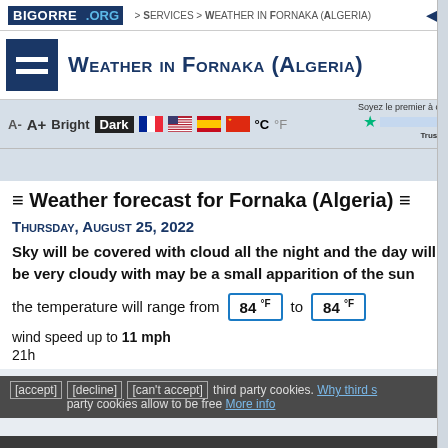BIGORRE .ORG > Services > Weather in Fornaka (Algeria)
Weather in Fornaka (Algeria)
A- A+ Bright Dark °C °F
≡ Weather forecast for Fornaka (Algeria) ≡
Thursday, August 25, 2022
Sky will be covered with cloud all the night and the day will be very cloudy with may be a small apparition of the sun
the temperature will range from 84 °F to 84 °F
wind speed up to 11 mph
21h
[accept] [decline] [can't accept] third party cookies. Why third party cookies allow to be free More info